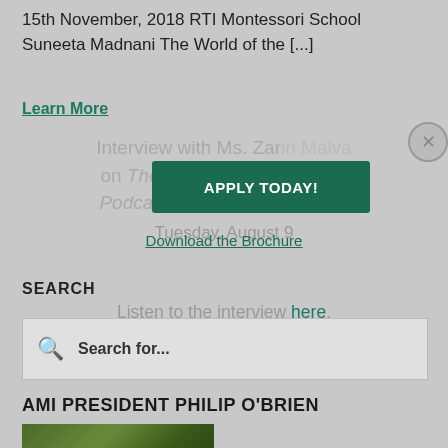15th November, 2018 RTI Montessori School Suneeta Madnani The World of the [...]
Learn More
[Figure (screenshot): Modal overlay with green 'APPLY TODAY!' button, 'Download the Brochure' link, and close (X) button, overlaid on a webpage showing interview text and search box]
Interview with Ms. Zarin Malva on The Montessori Education Podcast with Jesse McCarthy
Tuesday, August 9
Listen to the interview here.
SEARCH
Search for...
AMI PRESIDENT PHILIP O'BRIEN